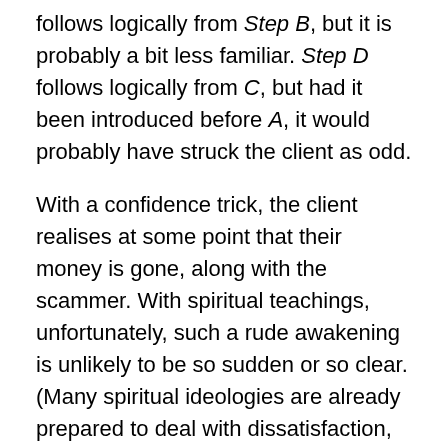follows logically from Step B, but it is probably a bit less familiar. Step D follows logically from C, but had it been introduced before A, it would probably have struck the client as odd.
With a confidence trick, the client realises at some point that their money is gone, along with the scammer. With spiritual teachings, unfortunately, such a rude awakening is unlikely to be so sudden or so clear. (Many spiritual ideologies are already prepared to deal with dissatisfaction, routinely instructing customers to “take that which resonates”, and ignore the red flags.)
A common — and easy — scam to fall for is network marketing (or multi-level marketing). These are very popular among spiritual marketeers. People are instructed to sell the product to their friends and often get to attend